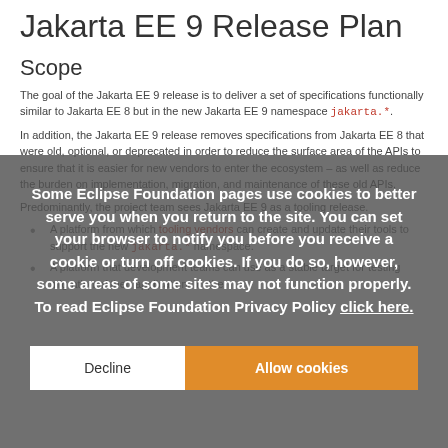Jakarta EE 9 Release Plan
Scope
The goal of the Jakarta EE 9 release is to deliver a set of specifications functionally similar to Jakarta EE 8 but in the new Jakarta EE 9 namespace jakarta.*.
In addition, the Jakarta EE 9 release removes specifications from Jakarta EE 8 that were old, optional, or deprecated in order to reduce the surface area of the APIs to ensure that it is easier for new vendors to enter the ecosystem – as well as reduce the burden on implementation, migration, and maintenance of these old APIs.
Predominantly, the project team sees Jakarta EE 9 as a tooling release.
A platform from which tooling vendors can create and update their tools to support the new jakarta.* namespace.
A platform that development teams can use as a stable target for testing migration of their applications to the